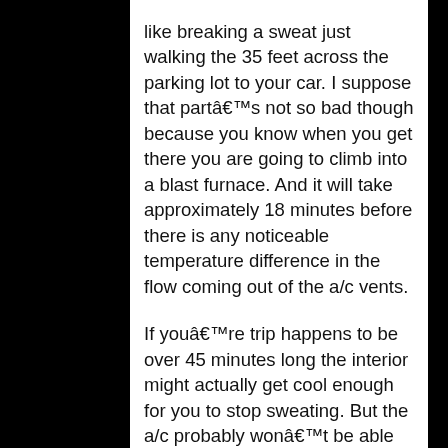like breaking a sweat just walking the 35 feet across the parking lot to your car. I suppose that partâ€™s not so bad though because you know when you get there you are going to climb into a blast furnace. And it will take approximately 18 minutes before there is any noticeable temperature difference in the flow coming out of the a/c vents.
If youâ€™re trip happens to be over 45 minutes long the interior might actually get cool enough for you to stop sweating. But the a/c probably wonâ€™t be able to dry out your shirt until after the sun goes down. By that time youâ€™re bound to notice some interesting smells are following you around.
It must be a sign of aging. Something I so